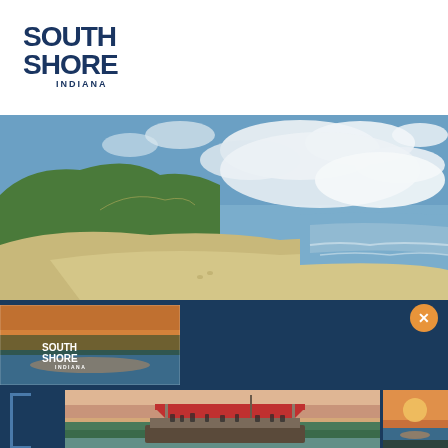[Figure (logo): South Shore Indiana logo — bold navy blue stacked text 'SOUTH SHORE' with 'INDIANA' below in smaller caps]
[Figure (photo): Wide panoramic beach scene with sandy shore, large green sand dunes, blue sky with white clouds, and Lake Michigan waves to the right — Indiana Dunes area]
[Figure (photo): Dark blue navigation/menu banner with a small South Shore Indiana thumbnail image on the left showing a sunset over water with the South Shore logo overlay]
[Figure (photo): Orange close/X button circle in upper right of banner]
[Figure (photo): Large photo of a tour boat with red canopy on a lake at sunset/dusk, people seated aboard, green forested shoreline in background — partial view of a sunset beach photo on right edge]